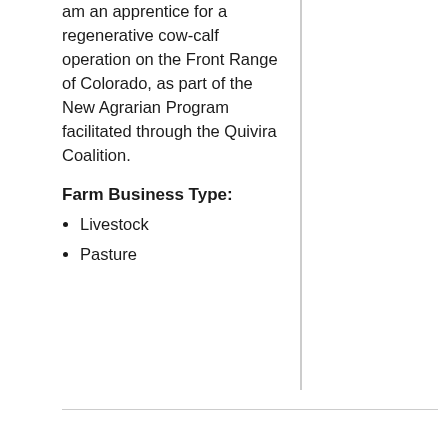am an apprentice for a regenerative cow-calf operation on the Front Range of Colorado, as part of the New Agrarian Program facilitated through the Quivira Coalition.
Farm Business Type:
Livestock
Pasture